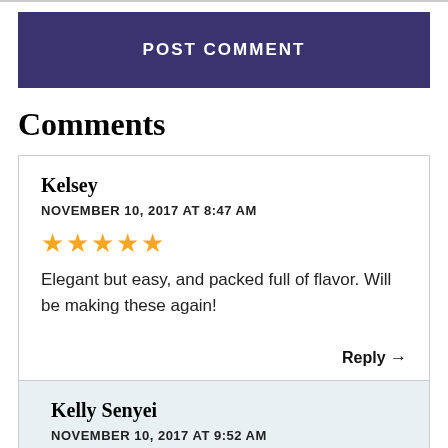POST COMMENT
Comments
Kelsey
NOVEMBER 10, 2017 AT 8:47 AM
★★★★★
Elegant but easy, and packed full of flavor. Will be making these again!
Reply →
Kelly Senyei
NOVEMBER 10, 2017 AT 9:52 AM